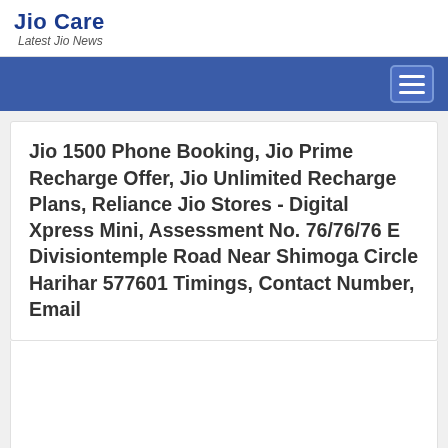Jio Care
Latest Jio News
Jio 1500 Phone Booking, Jio Prime Recharge Offer, Jio Unlimited Recharge Plans, Reliance Jio Stores - Digital Xpress Mini, Assessment No. 76/76/76 E Divisiontemple Road Near Shimoga Circle Harihar 577601 Timings, Contact Number, Email